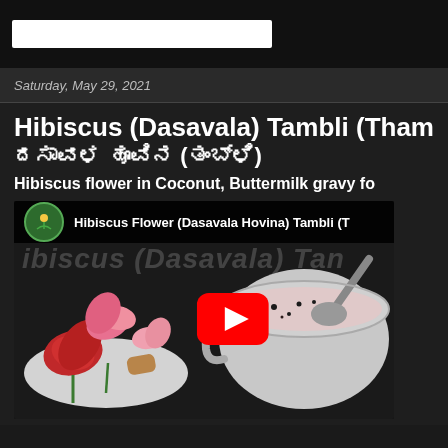Saturday, May 29, 2021
Hibiscus (Dasavala) Tambli (Tham... ದಸಾವಳ ಹೂವಿನ (ತಂಬ್ಳಿ)
Hibiscus flower in Coconut, Buttermilk gravy fo...
[Figure (screenshot): YouTube video thumbnail showing hibiscus flowers on a white plate and a pot with gravy, with YouTube play button overlay. Channel: Hibiscus Flower (Dasavala Hovina) Tambli (T...]